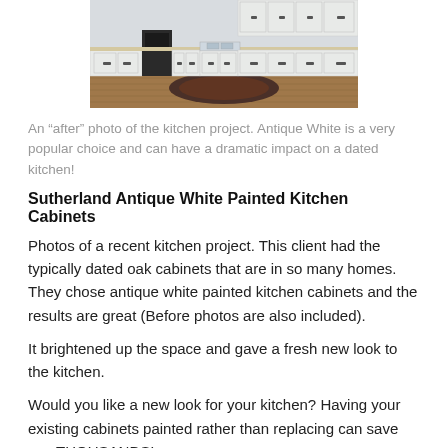[Figure (photo): An after photo of a kitchen remodel showing antique white painted cabinets with dark hardware, wood floors, and a decorative rug.]
An “after” photo of the kitchen project. Antique White is a very popular choice and can have a dramatic impact on a dated kitchen!
Sutherland Antique White Painted Kitchen Cabinets
Photos of a recent kitchen project. This client had the typically dated oak cabinets that are in so many homes. They chose antique white painted kitchen cabinets and the results are great (Before photos are also included).
It brightened up the space and gave a fresh new look to the kitchen.
Would you like a new look for your kitchen? Having your existing cabinets painted rather than replacing can save you THOUSANDS! Click here to read more about how you can Save Thousands on Kitchen Remodeling in Johnson City
Message now or call (423)557-5097 to set up your free estimate and